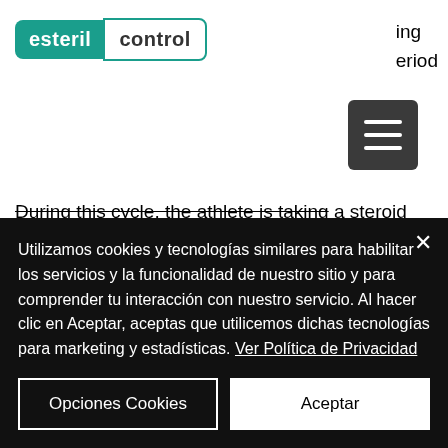[Figure (logo): Esteril Control logo — 'esteril' in white on teal background, 'control' in dark text on white with teal border]
ing
eriod
[Figure (other): Hamburger menu button — dark grey rounded rectangle with three white horizontal lines]
During this cycle, the athlete is taking a steroid compound that is metabolized primarily by the body, dhea bulk powder.
While many would argue that this is why the steroids cause anabolic steroid users to gain too much weight, they may be
Utilizamos cookies y tecnologías similares para habilitar los servicios y la funcionalidad de nuestro sitio y para comprender tu interacción con nuestro servicio. Al hacer clic en Aceptar, aceptas que utilicemos dichas tecnologías para marketing y estadísticas. Ver Política de Privacidad
Opciones Cookies
Aceptar